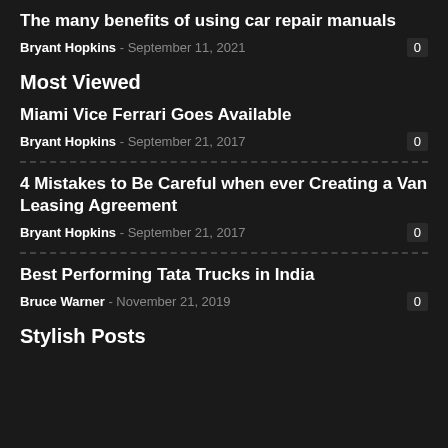The many benefits of using car repair manuals
Bryant Hopkins - September 11, 2021   0
Most Viewed
Miami Vice Ferrari Goes Available
Bryant Hopkins - September 21, 2017   0
4 Mistakes to Be Careful when ever Creating a Van Leasing Agreement
Bryant Hopkins - September 21, 2017   0
Best Performing Tata Trucks in India
Bruce Warner - November 21, 2019   0
Stylish Posts